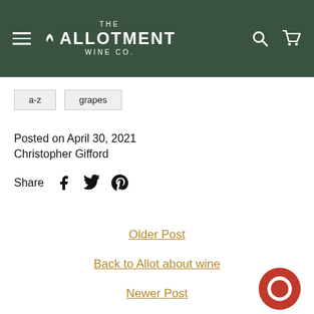THE ALLOTMENT WINE CO.
a-z
grapes
Posted on April 30, 2021
Christopher Gifford
Share
Older Post
Back to Allot about wine
Newer Post